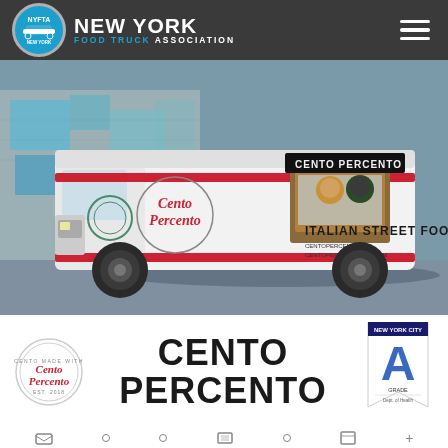New York Food Truck Association
[Figure (photo): Cento Percento Italian Street Food truck parked in front of a graffiti wall, with two men visible in the service window. The white van has red glitter stripe decoration and 'Cento Percento' script lettering on the side. Sign above window reads 'CENTO PERCENTO'.]
[Figure (logo): Cento Percento circular logo with script lettering]
CENTO PERCENTO
[Figure (other): Health Department Grade A banner/badge]
[Figure (other): Row of small icons at bottom of page]